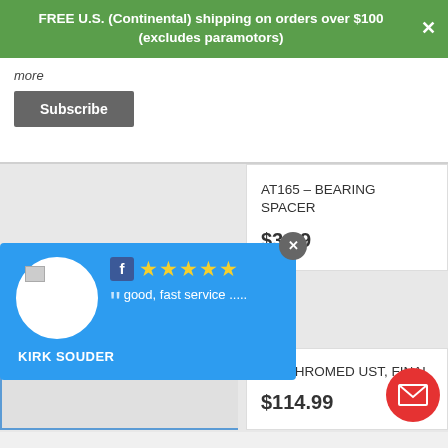FREE U.S. (Continental) shipping on orders over $100 (excludes paramotors)
more
Subscribe
AT165 – BEARING SPACER
$3.99
B – CHROMED UST, FINAL
$114.99
[Figure (screenshot): Social review popup from Kirk Souder on Facebook with 5 stars and quote: good, fast service .....]
KIRK SOUDER